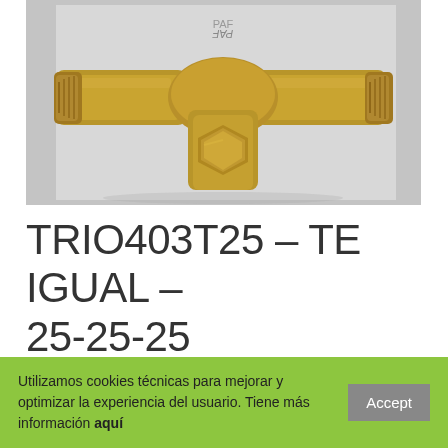[Figure (photo): A brass T-shaped pipe fitting (tee fitting) with three threaded/compression ends, photographed on a light grey background. The fitting is gold/brass colored.]
TRIO403T25 – TE IGUAL – 25-25-25
Utilizamos cookies técnicas para mejorar y optimizar la experiencia del usuario. Tiene más información aquí